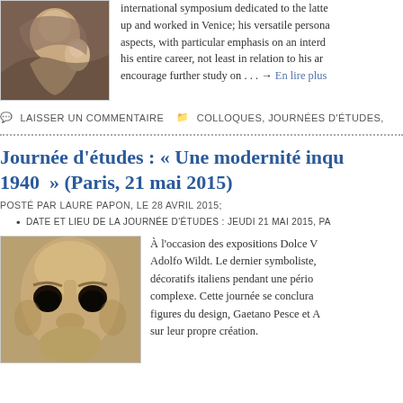[Figure (photo): Painting detail showing figures, likely a Renaissance artwork with cherub or child and adult figures]
international symposium dedicated to the latter . . . up and worked in Venice; his versatile persona aspects, with particular emphasis on an interdisciplinary his entire career, not least in relation to his art encourage further study on . . . → En lire plus
LAISSER UN COMMENTAIRE   COLLOQUES, JOURNÉES D'ÉTUDES,
Journée d'études : « Une modernité inqu 1940  » (Paris, 21 mai 2015)
POSTÉ PAR LAURE PAPON, LE 28 AVRIL 2015;
DATE ET LIEU DE LA JOURNÉE D'ÉTUDES : JEUDI 21 MAI 2015, PA
[Figure (photo): Close-up sculpture or artwork of a face with prominent dark hollow eyes and a nose, appears to be a classical or modernist sculpture]
À l'occasion des expositions Dolce V Adolfo Wildt. Le dernier symboliste, décoratifs italiens pendant une période complexe. Cette journée se conclura figures du design, Gaetano Pesce et A sur leur propre création.